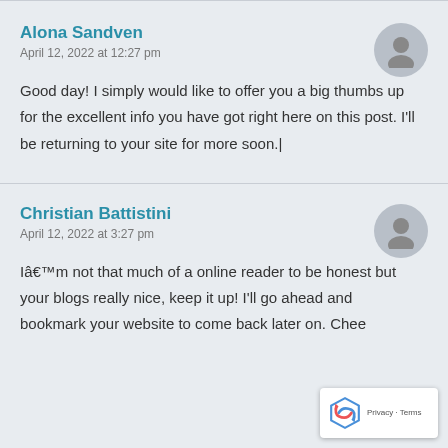Alona Sandven
April 12, 2022 at 12:27 pm
Good day! I simply would like to offer you a big thumbs up for the excellent info you have got right here on this post. I'll be returning to your site for more soon.|
Christian Battistini
April 12, 2022 at 3:27 pm
Iâ€™m not that much of a online reader to be honest but your blogs really nice, keep it up! I'll go ahead and bookmark your website to come back later on. Chee